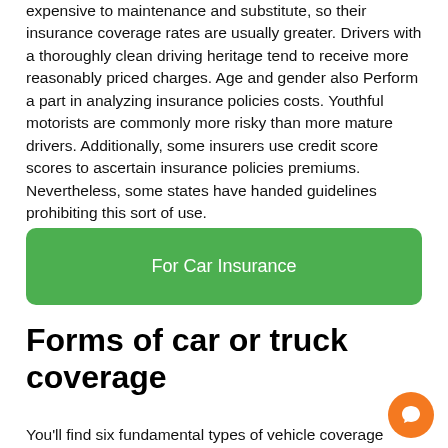expensive to maintenance and substitute, so their insurance coverage rates are usually greater. Drivers with a thoroughly clean driving heritage tend to receive more reasonably priced charges. Age and gender also Perform a part in analyzing insurance policies costs. Youthful motorists are commonly more risky than more mature drivers. Additionally, some insurers use credit score scores to ascertain insurance policies premiums. Nevertheless, some states have handed guidelines prohibiting this sort of use.
[Figure (other): Green rounded button labeled 'For Car Insurance']
Forms of car or truck coverage
You'll find six fundamental types of vehicle coverage